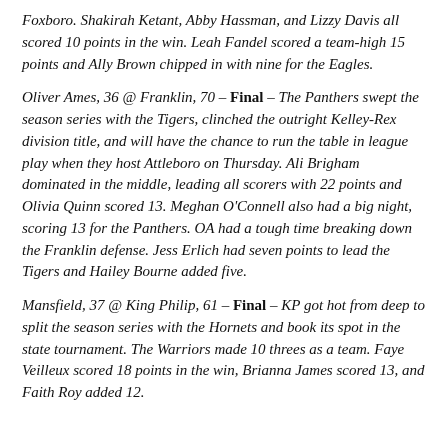Foxboro. Shakirah Ketant, Abby Hassman, and Lizzy Davis all scored 10 points in the win. Leah Fandel scored a team-high 15 points and Ally Brown chipped in with nine for the Eagles.
Oliver Ames, 36 @ Franklin, 70 – Final – The Panthers swept the season series with the Tigers, clinched the outright Kelley-Rex division title, and will have the chance to run the table in league play when they host Attleboro on Thursday. Ali Brigham dominated in the middle, leading all scorers with 22 points and Olivia Quinn scored 13. Meghan O'Connell also had a big night, scoring 13 for the Panthers. OA had a tough time breaking down the Franklin defense. Jess Erlich had seven points to lead the Tigers and Hailey Bourne added five.
Mansfield, 37 @ King Philip, 61 – Final – KP got hot from deep to split the season series with the Hornets and book its spot in the state tournament. The Warriors made 10 threes as a team. Faye Veilleux scored 18 points in the win, Brianna James scored 13, and Faith Roy added 12.